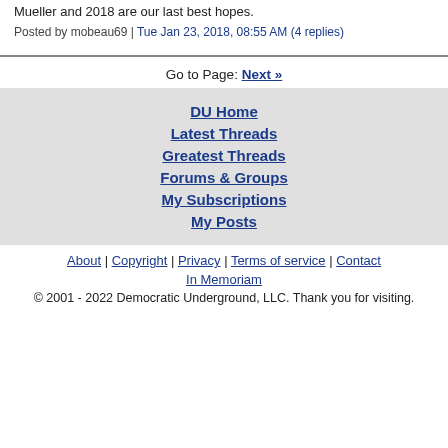Mueller and 2018 are our last best hopes.
Posted by mobeau69 | Tue Jan 23, 2018, 08:55 AM (4 replies)
Go to Page: Next »
DU Home
Latest Threads
Greatest Threads
Forums & Groups
My Subscriptions
My Posts
About | Copyright | Privacy | Terms of service | Contact
In Memoriam
© 2001 - 2022 Democratic Underground, LLC. Thank you for visiting.